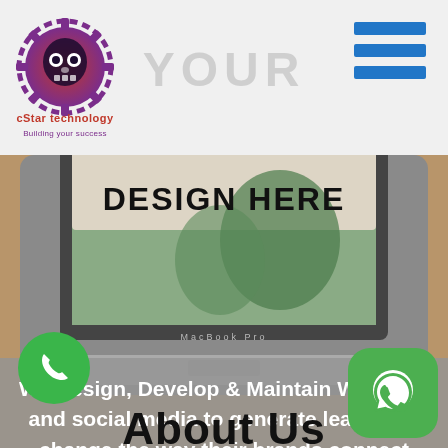[Figure (logo): cStar Technology logo — circular gear icon with skull-like face, purple/red gradient, with text 'cStar technology' and 'Building your success' below]
[Figure (other): Three horizontal blue hamburger menu lines in top right corner]
[Figure (screenshot): MacBook Pro laptop on wooden desk with 'DESIGN HERE' text displayed on screen, faded 'YOUR' text visible above laptop]
We Design, Develop & Maintain Websites and social media to generate leads and change the way their brands connect with audiences in a digital world.
[Figure (illustration): Green circular phone call button icon in bottom left]
[Figure (illustration): Green rounded-square WhatsApp icon in bottom right]
About Us